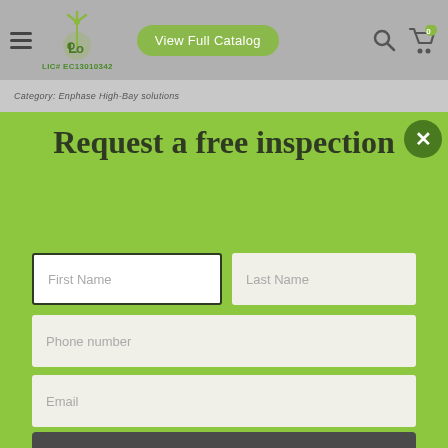[Figure (screenshot): Website navigation bar with hamburger menu, green logo with wind turbine and 'LIC# EC13010342', 'View Full Catalog' green pill button, search icon, and cart icon with badge '0']
Category: Enphase High-Bay solutions
Request a free inspection
First Name
Last Name
Phone number
Email
Request